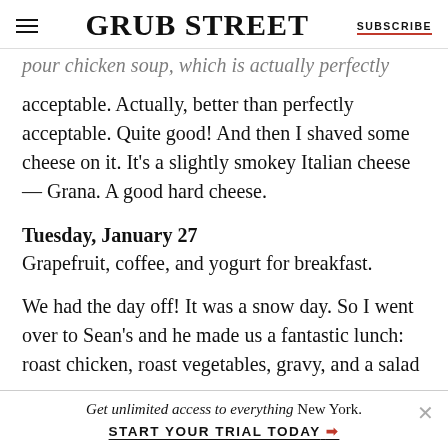GRUB STREET | SUBSCRIBE
pour chicken soup, which is actually perfectly acceptable. Actually, better than perfectly acceptable. Quite good! And then I shaved some cheese on it. It’s a slightly smokey Italian cheese — Grana. A good hard cheese.
Tuesday, January 27
Grapefruit, coffee, and yogurt for breakfast.
We had the day off! It was a snow day. So I went over to Sean’s and he made us a fantastic lunch: roast chicken, roast vegetables, gravy, and a salad
Get unlimited access to everything New York.
START YOUR TRIAL TODAY